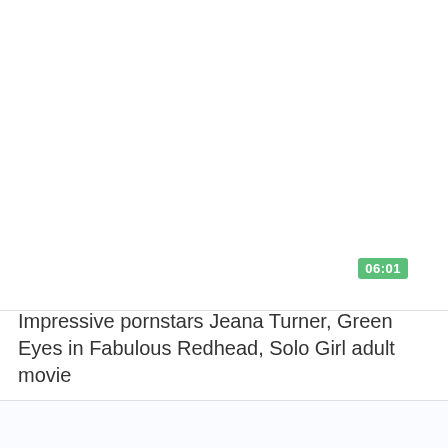[Figure (screenshot): Video thumbnail placeholder area, white background with a green duration badge showing 06:01 in the top right of the thumbnail.]
Impressive pornstars Jeana Turner, Green Eyes in Fabulous Redhead, Solo Girl adult movie